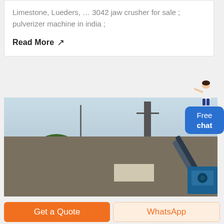Limestone, Lueders, … 3042 jaw crusher for sale ; pulverizer machine in india ;
Read More →
[Figure (photo): Outdoor industrial site with a tall chimney/tower, trees, conveyor equipment on the right, a small shed, and construction/crushing machinery in the foreground under a light blue sky.]
Free chat
Get a Quote
WhatsApp